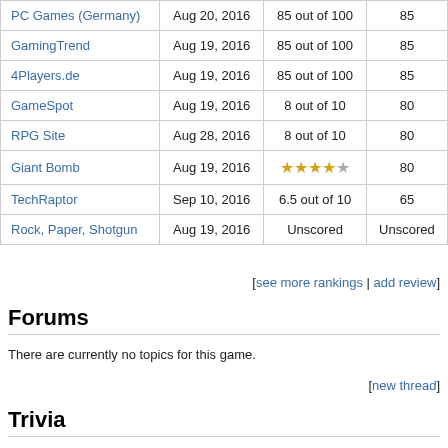|  |  |  |  |
| --- | --- | --- | --- |
| PC Games (Germany) | Aug 20, 2016 | 85 out of 100 | 85 |
| GamingTrend | Aug 19, 2016 | 85 out of 100 | 85 |
| 4Players.de | Aug 19, 2016 | 85 out of 100 | 85 |
| GameSpot | Aug 19, 2016 | 8 out of 10 | 80 |
| RPG Site | Aug 28, 2016 | 8 out of 10 | 80 |
| Giant Bomb | Aug 19, 2016 | ★★★★☆ | 80 |
| TechRaptor | Sep 10, 2016 | 6.5 out of 10 | 65 |
| Rock, Paper, Shotgun | Aug 19, 2016 | Unscored | Unscored |
[see more rankings | add review]
Forums
There are currently no topics for this game.
[new thread]
Trivia